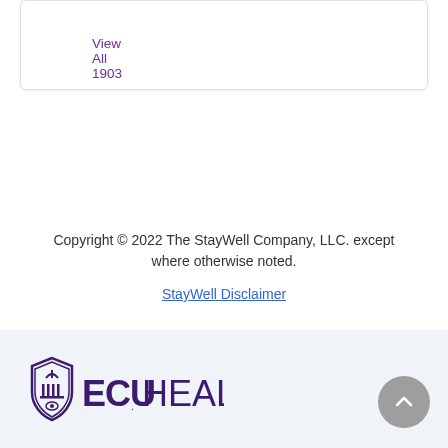View All 1903
Copyright © 2022 The StayWell Company, LLC. except where otherwise noted.
StayWell Disclaimer
[Figure (logo): ECU Health logo with shield icon and text 'ECU HEALTH' in dark purple]
ECU Health footer bar with logo and scroll-to-top button